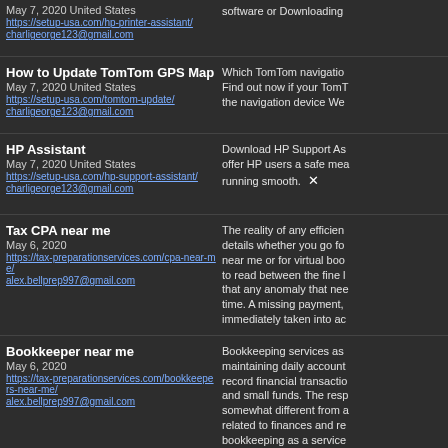May 7, 2020 United States
https://setup-usa.com/hp-printer-assistant/
charligeorge123@gmail.com | software or Downloading
How to Update TomTom GPS Map
May 7, 2020 United States
https://setup-usa.com/tomtom-update/
charligeorge123@gmail.com | Which TomTom navigation... Find out now if your TomT... the navigation device We...
HP Assistant
May 7, 2020 United States
https://setup-usa.com/hp-support-assistant/
charligeorge123@gmail.com | Download HP Support As... offer HP users a safe mea... running smooth.
Tax CPA near me
May 6, 2020
https://tax-preparationservices.com/cpa-near-me/
alex.bellprep997@gmail.com | The reality of any efficien... details whether you go fo... near me or for virtual boo... to read between the fine l... that any anomaly that nee... time. A missing payment,... immediately taken into ac...
Bookkeeper near me
May 6, 2020
https://tax-preparationservices.com/bookkeepers-near-me/
alex.bellprep997@gmail.com | Bookkeeping services as... maintaining daily account... record financial transactio... and small funds. The resp... somewhat different from a... related to finances and re... bookkeeping as a service... bookkeeping services for...
Accountant near me
May 6, 2020
https://tax-preparationservices.com/accountants-near-me/
alex.bellprep997@gmail.com | When choosing a reliable... paramount to find an indiv... experience combined with... acumen. This article is a...